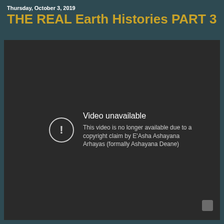Thursday, October 3, 2019
THE REAL Earth Histories PART 3
[Figure (screenshot): Video unavailable message on a dark background. An icon with exclamation mark in a circle is shown with text: 'Video unavailable. This video is no longer available due to a copyright claim by E'Asha Ashayana Arhayas (formally Ashayana Deane)']